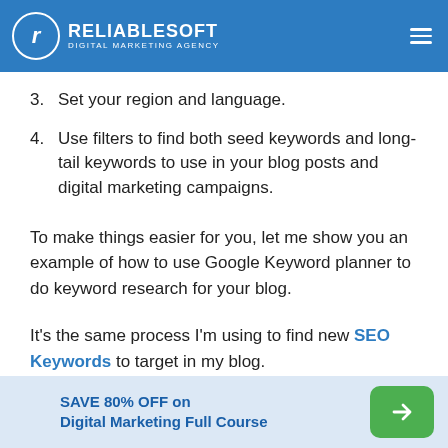RELIABLESOFT DIGITAL MARKETING AGENCY
3. Set your region and language.
4. Use filters to find both seed keywords and long-tail keywords to use in your blog posts and digital marketing campaigns.
To make things easier for you, let me show you an example of how to use Google Keyword planner to do keyword research for your blog.
It's the same process I'm using to find new SEO Keywords to target in my blog.
SAVE 80% OFF on Digital Marketing Full Course